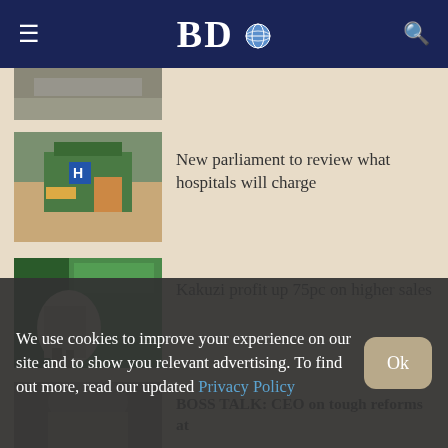BDO
[Figure (photo): Partial view of a road/street photo at the top of the page]
[Figure (photo): Photo of hospital entrance with green canopy and H sign]
New parliament to review what hospitals will charge
[Figure (photo): Photo of a man in a suit speaking at a podium with green banners behind]
Kakuzi profit up 75pc on higher sales
[Figure (photo): Partial photo of a person, cropped]
BOSS TALK: CEO on tough reforms at
We use cookies to improve your experience on our site and to show you relevant advertising. To find out more, read our updated Privacy Policy